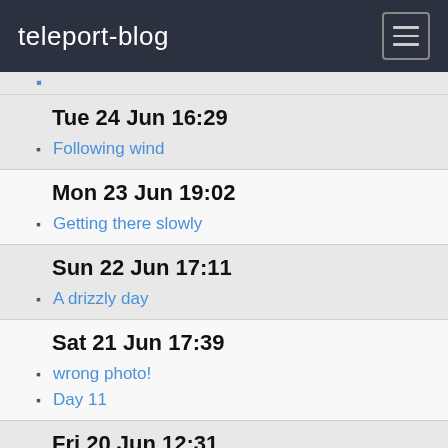teleport-blog
Tue 24 Jun 16:29
Following wind
Mon 23 Jun 19:02
Getting there slowly
Sun 22 Jun 17:11
A drizzly day
Sat 21 Jun 17:39
wrong photo!
Day 11
Fri 20 Jun 12:31
Late blog
Wed 18 Jun 18:10
Sailing along
Tue 17 Jun 18:18
Fickle winds